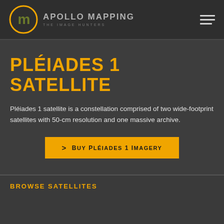APOLLO MAPPING THE IMAGE HUNTERS
PLÉIADES 1 SATELLITE
Pléiades 1 satellite is a constellation comprised of two wide-footprint satellites with 50-cm resolution and one massive archive.
> BUY PLÉIADES 1 IMAGERY
BROWSE SATELLITES